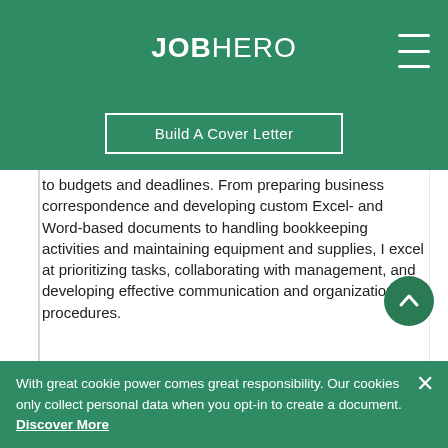JOBHERO
Build A Cover Letter
to budgets and deadlines. From preparing business correspondence and developing custom Excel- and Word-based documents to handling bookkeeping activities and maintaining equipment and supplies, I excel at prioritizing tasks, collaborating with management, and developing effective communication and organizational procedures.
Highlights of my experience include…
Skillfully managing day-to-day office operations, communications, scheduling, database management and special projects throughout 13-year career in
With great cookie power comes great responsibility. Our cookies only collect personal data when you opt-in to create a document. Discover More